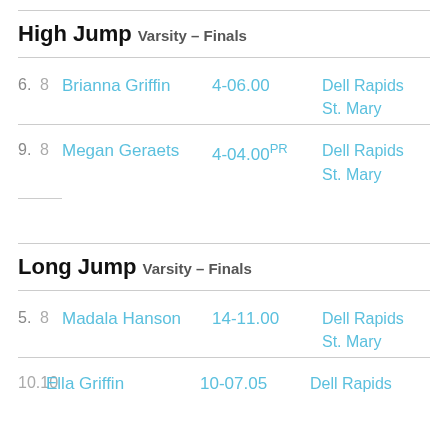High Jump Varsity – Finals
6.  8  Brianna Griffin  4-06.00  Dell Rapids St. Mary
9.  8  Megan Geraets  4-04.00PR  Dell Rapids St. Mary
Long Jump Varsity – Finals
5.  8  Madala Hanson  14-11.00  Dell Rapids St. Mary
10. 10  Ella Griffin  10-07.05  Dell Rapids